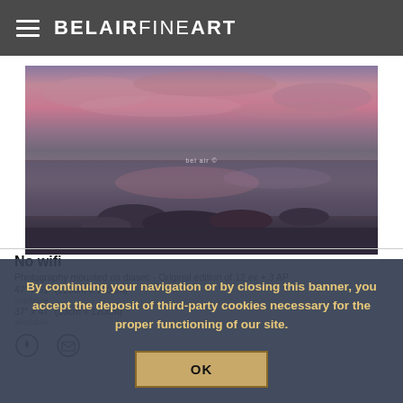BELAIRFINEART
[Figure (photo): Coastal sunset photograph showing a tidal flat with rocks, pink and purple sky reflected in shallow water, with watermark text overlay]
No wifi
Photography mounted on diasec - Original edition of 12 ex + 3 AP
47" x 61" (120cm x 150cm)
available
37" x 47" (93cm x 120cm)
available
By continuing your navigation or by closing this banner, you accept the deposit of third-party cookies necessary for the proper functioning of our site.
OK